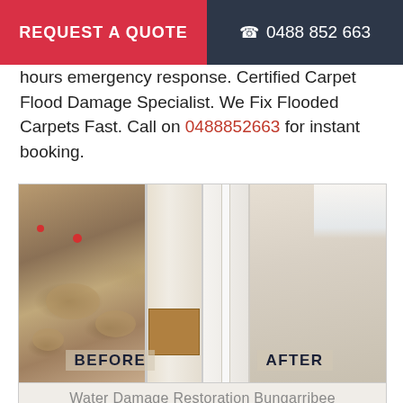REQUEST A QUOTE   ☎ 0488 852 663
hours emergency response. Certified Carpet Flood Damage Specialist. We Fix Flooded Carpets Fast. Call on 0488852663 for instant booking.
[Figure (photo): Before and after comparison of water-damaged carpet restoration. Left panel (BEFORE) shows wet, stained, muddy carpet with water marks and debris. Right panel (AFTER) shows clean, dry, restored carpet in a hallway.]
Water Damage Restoration Bungarribee
Same Day Water Damage Restoration Bungarribee
If the carpet at your home has been damaged by the terrible broken floods or the damaged water pipes you